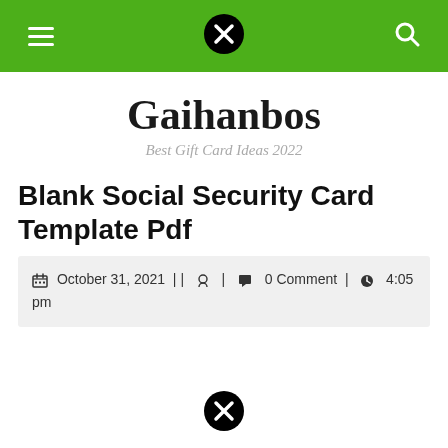Gaihanbos — Best Gift Card Ideas 2022
Gaihanbos
Best Gift Card Ideas 2022
Blank Social Security Card Template Pdf
October 31, 2021 | | | 0 Comment | 4:05 pm